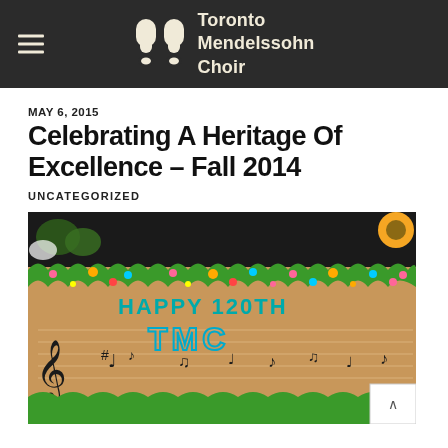Toronto Mendelssohn Choir
MAY 6, 2015
Celebrating A Heritage Of Excellence – Fall 2014
UNCATEGORIZED
[Figure (photo): A decorated cake with 'HAPPY 120TH TMC' written in blue icing, decorated with colorful flowers and musical notes on what appears to be a staff pattern.]